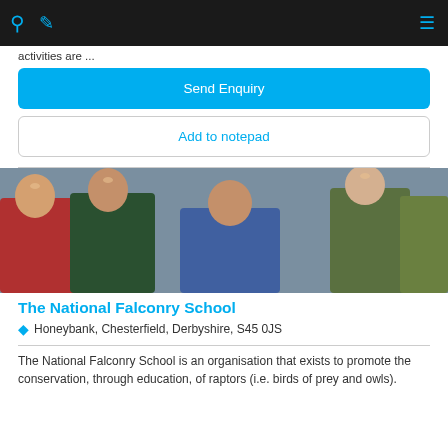Navigation bar with search, edit, and menu icons
activities are ...
Send Enquiry
Add to notepad
[Figure (photo): Group of people outdoors, one woman holding a bird of prey (hawk/falcon) on a gloved hand. People are smiling and dressed in outdoor clothing.]
The National Falconry School
Honeybank, Chesterfield, Derbyshire, S45 0JS
The National Falconry School is an organisation that exists to promote the conservation, through education, of raptors (i.e. birds of prey and owls).